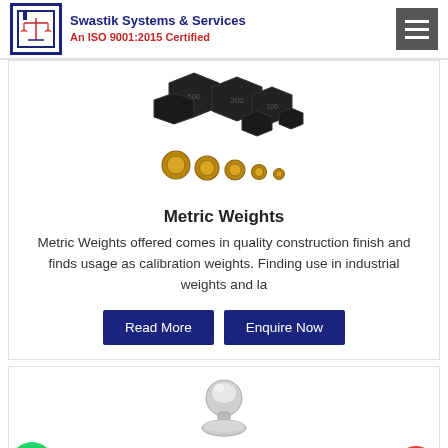Swastik Systems & Services
An ISO 9001:2015 Certified
[Figure (photo): Hexagonal black cast iron metric weights and small round brass weights arranged together]
Metric Weights
Metric Weights offered comes in quality construction finish and finds usage as calibration weights. Finding use in industrial weights and la
Read More  Enquire Now
[Figure (photo): Chrome/silver spherical knob calibration weight partially visible at bottom of page]